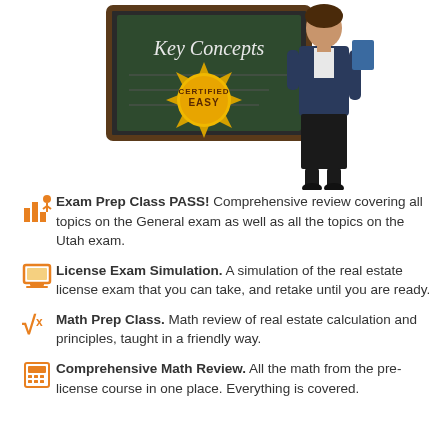[Figure (illustration): A teacher standing next to a chalkboard that reads 'Key Concepts' with a gold 'Certified Easy' seal badge in front of it. The illustration shows a woman in professional attire.]
Exam Prep Class PASS! Comprehensive review covering all topics on the General exam as well as all the topics on the Utah exam.
License Exam Simulation. A simulation of the real estate license exam that you can take, and retake until you are ready.
Math Prep Class. Math review of real estate calculation and principles, taught in a friendly way.
Comprehensive Math Review. All the math from the pre-license course in one place. Everything is covered.